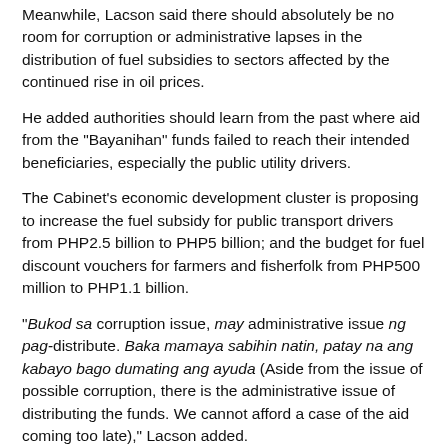Meanwhile, Lacson said there should absolutely be no room for corruption or administrative lapses in the distribution of fuel subsidies to sectors affected by the continued rise in oil prices.
He added authorities should learn from the past where aid from the "Bayanihan" funds failed to reach their intended beneficiaries, especially the public utility drivers.
The Cabinet's economic development cluster is proposing to increase the fuel subsidy for public transport drivers from PHP2.5 billion to PHP5 billion; and the budget for fuel discount vouchers for farmers and fisherfolk from PHP500 million to PHP1.1 billion.
"Bukod sa corruption issue, may administrative issue ng pag-distribute. Baka mamaya sabihin natin, patay na ang kabayo bago dumating ang ayuda (Aside from the issue of possible corruption, there is the administrative issue of distributing the funds. We cannot afford a case of the aid coming too late)," Lacson added.
He recalled that while Congress passed the Bayanihan to Recover as One Act (Bayanihan 2) to help the transport sector cope with the effects of the pandemic, the Commission on Audit later found that only 1 percent of the fund reached the intended recipients.